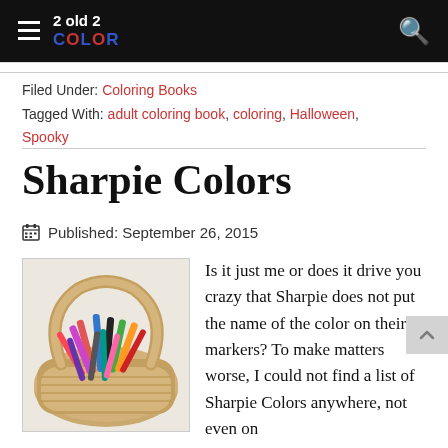2 old 2 COLOR
Filed Under: Coloring Books
Tagged With: adult coloring book, coloring, Halloween, Spooky
Sharpie Colors
Published: September 26, 2015
[Figure (photo): A wicker basket filled with colorful Sharpie markers in various colors]
Is it just me or does it drive you crazy that Sharpie does not put the name of the color on their markers? To make matters worse, I could not find a list of Sharpie Colors anywhere, not even on